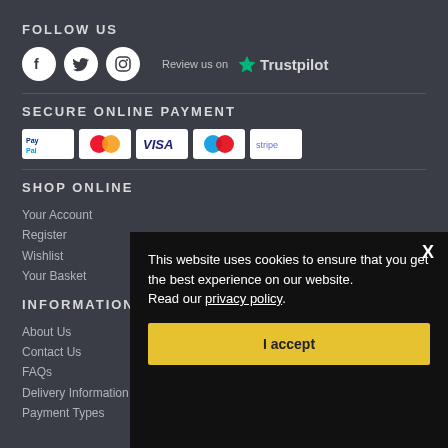FOLLOW US
[Figure (illustration): Social media icons: Facebook, Twitter, Instagram circles, and Trustpilot review link with star logo]
SECURE ONLINE PAYMENT
[Figure (illustration): Payment method badges: PayPal, Mastercard, VISA, Maestro, Stripe]
SHOP ONLINE
Your Account
Register
Wishlist
Your Basket
INFORMATION
About Us
Contact Us
FAQs
Delivery Information
Payment Types
This website uses cookies to ensure that you get the best experience on our website. Read our privacy policy.
I accept